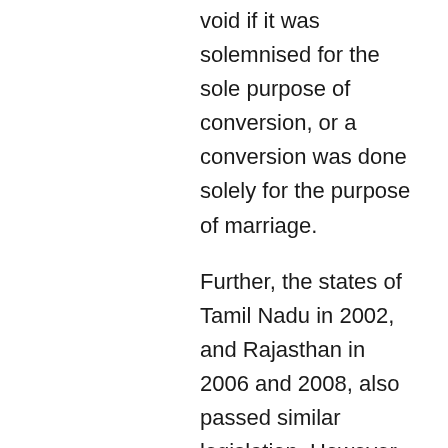void if it was solemnised for the sole purpose of conversion, or a conversion was done solely for the purpose of marriage.
Further, the states of Tamil Nadu in 2002, and Rajasthan in 2006 and 2008, also passed similar legislation. However, the Tamil Nadu legislation was repealed in 2006 after protests by Christian minorities, while in case of Rajasthan, the bills did not receive assent of the governor of the state, and the President of India.
In November 2019, citing rising incidents of forced or fraudulent religious conversions, the Uttar Pradesh Law Commission recommended enacting a new law to regulate religious conversions. This led the state government to